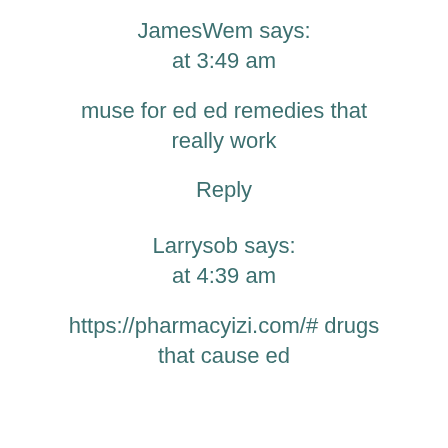JamesWem says:
at 3:49 am
muse for ed ed remedies that really work
Reply
Larrysob says:
at 4:39 am
https://pharmacyizi.com/# drugs that cause ed